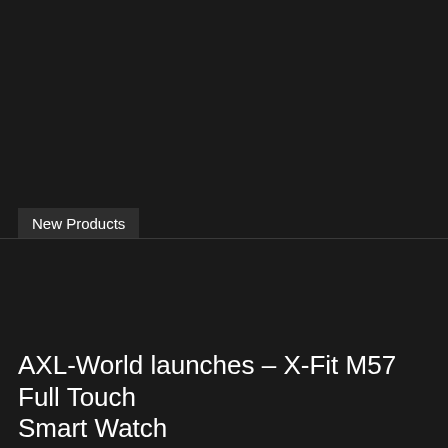New Products
AXL-World launches – X-Fit M57 Full Touch Smart Watch